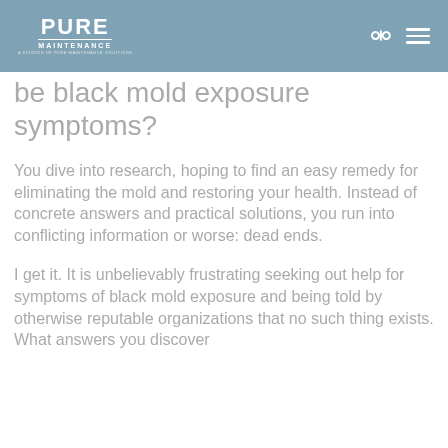PURE MAINTENANCE
be black mold exposure symptoms?
You dive into research, hoping to find an easy remedy for eliminating the mold and restoring your health. Instead of concrete answers and practical solutions, you run into conflicting information or worse: dead ends.
I get it. It is unbelievably frustrating seeking out help for symptoms of black mold exposure and being told by otherwise reputable organizations that no such thing exists. What answers you discover